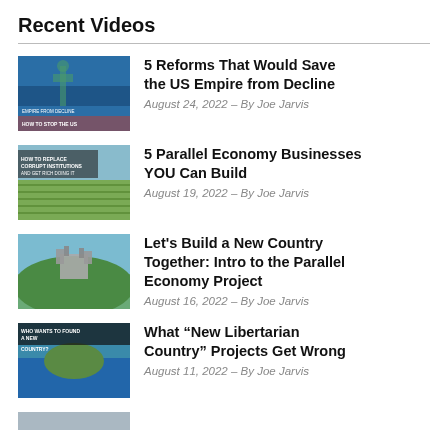Recent Videos
5 Reforms That Would Save the US Empire from Decline — August 24, 2022 – By Joe Jarvis
5 Parallel Economy Businesses YOU Can Build — August 19, 2022 – By Joe Jarvis
Let's Build a New Country Together: Intro to the Parallel Economy Project — August 16, 2022 – By Joe Jarvis
What “New Libertarian Country” Projects Get Wrong — August 11, 2022 – By Joe Jarvis